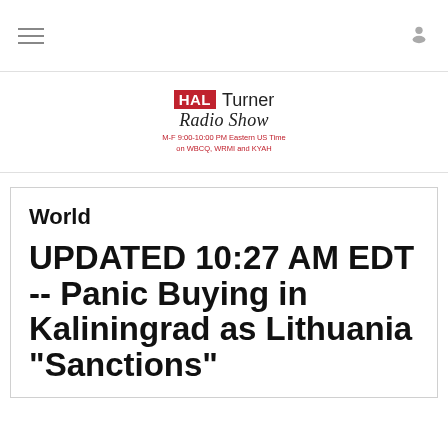HAL Turner Radio Show — M-F 9:00-10:00 PM Eastern US Time on WBCQ, WRMI and KYAH
World
UPDATED 10:27 AM EDT -- Panic Buying in Kaliningrad as Lithuania "Sanctions"